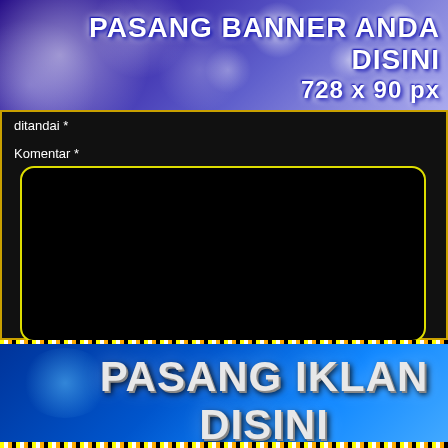[Figure (illustration): Top banner with purple/blue floral background and white text reading 'PASANG BANNER ANDA DISINI' and '728 x 90 px']
ditandai *
Komentar *
[Figure (screenshot): Large black textarea with yellow rounded border for comment input]
Nama *
[Figure (screenshot): White text input field for name, with red CLOSE button showing X CLOSE]
Email *
[Figure (illustration): Bottom banner with blue gradient background, dotted gold border, and large silver text reading 'PASANG IKLAN DISINI']